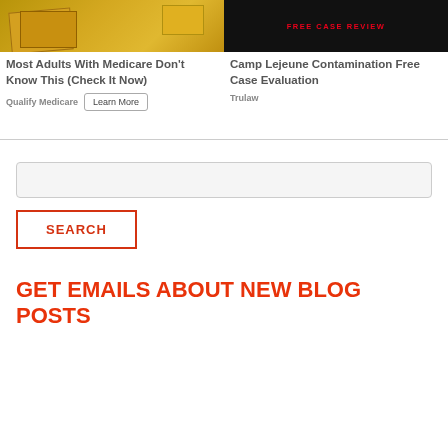[Figure (photo): Left ad card showing person holding yellow packages, with headline 'Most Adults With Medicare Don't Know This (Check It Now)' and 'Qualify Medicare' source with Learn More button]
[Figure (photo): Right ad card with black background showing 'FREE CASE REVIEW' in red text, with headline 'Camp Lejeune Contamination Free Case Evaluation' and 'Trulaw' source]
Search input box
SEARCH
GET EMAILS ABOUT NEW BLOG POSTS